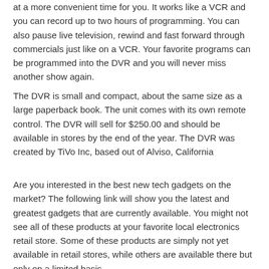at a more convenient time for you. It works like a VCR and you can record up to two hours of programming. You can also pause live television, rewind and fast forward through commercials just like on a VCR. Your favorite programs can be programmed into the DVR and you will never miss another show again.
The DVR is small and compact, about the same size as a large paperback book. The unit comes with its own remote control. The DVR will sell for $250.00 and should be available in stores by the end of the year. The DVR was created by TiVo Inc, based out of Alviso, California
Are you interested in the best new tech gadgets on the market? The following link will show you the latest and greatest gadgets that are currently available. You might not see all of these products at your favorite local electronics retail store. Some of these products are simply not yet available in retail stores, while others are available there but only on a limited basis.